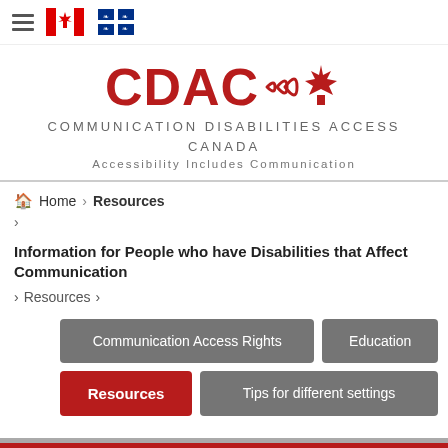[Figure (logo): CDAC logo with maple leaf and sound wave arcs, text COMMUNICATION DISABILITIES ACCESS CANADA, tagline Accessibility Includes Communication]
Home › Resources
›
Information for People who have Disabilities that Affect Communication
› Resources ›
Communication Access Rights
Education
Resources
Tips for different settings